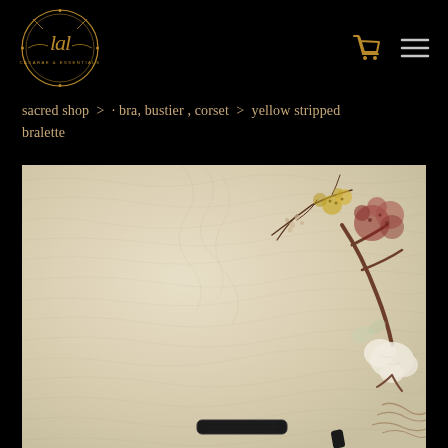[Figure (logo): LAL Casarae & Essentials circular logo with decorative script lettering on black background]
sacred shop > · bra, bustier , corset > yellow stripped bralette
[Figure (photo): Flat lay photo on cream/ivory quilted fabric background with dried flowers, branches, cotton bolls, and a dark bralette strap visible at bottom]